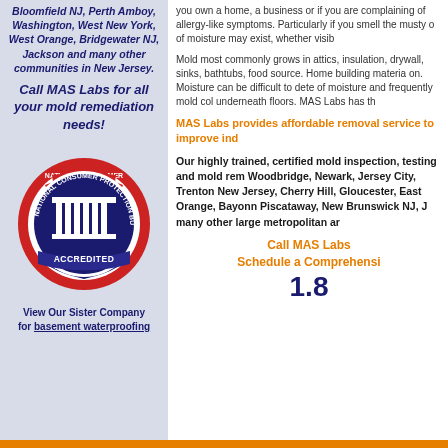Bloomfield NJ, Perth Amboy, Washington, West New York, West Orange, Bridgewater NJ, Jackson and many other communities in New Jersey.
Call MAS Labs for all your mold remediation needs!
[Figure (logo): National Consumer Protection Bureau Accredited seal — circular red badge with zigzag border and blue banner reading ACCREDITED]
View Our Sister Company for basement waterproofing
you own a home, a business or if you are complaining of allergy-like symptoms. Particularly if you smell the musty odor of moisture may exist, whether visib...
Mold most commonly grows in attics, insulation, drywall, sinks, bathtubs, food source. Home building materials on. Moisture can be difficult to detect of moisture and frequently mold col underneath floors. MAS Labs has th...
MAS Labs provides affordable removal service to improve ind...
Our highly trained, certified mold inspection, testing and mold rem Woodbridge, Newark, Jersey City, Trenton New Jersey, Cherry Hill, Gloucester, East Orange, Bayonn Piscataway, New Brunswick NJ, J many other large metropolitan ar...
Call MAS Labs Schedule a Comprehensi
1.8...